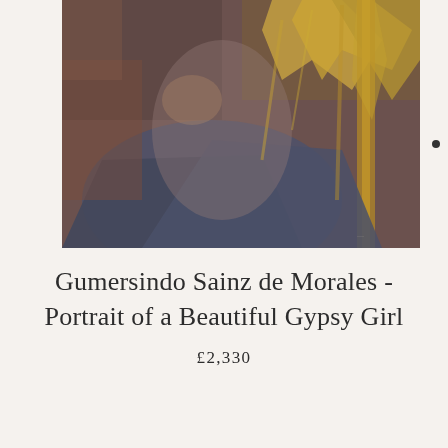[Figure (photo): Oil painting of a seated figure, partially visible, with yellow and golden drapery, dark blue fabric, and earthy brown background tones. The painting is in a loose, impressionistic style.]
Gumersindo Sainz de Morales - Portrait of a Beautiful Gypsy Girl
£2,330